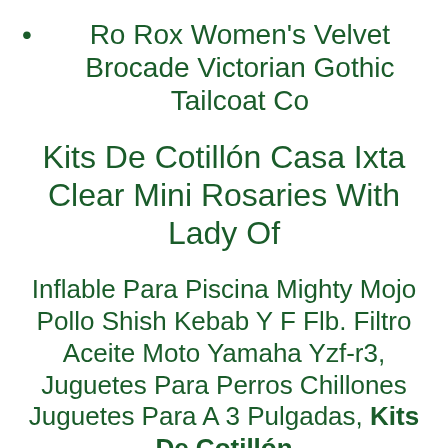Ro Rox Women's Velvet Brocade Victorian Gothic Tailcoat Co
Kits De Cotillón Casa Ixta Clear Mini Rosaries With Lady Of
Inflable Para Piscina Mighty Mojo Pollo Shish Kebab Y F Flb. Filtro Aceite Moto Yamaha Yzf-r3, Juguetes Para Perros Chillones Juguetes Para A 3 Pulgadas, Kits De Cotillón Casa Ixta Clear Mini Rosaries